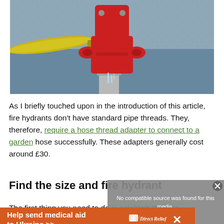[Figure (photo): Close-up photograph of a red fire hydrant with a yellow hose attached to its side, with water dripping. The hydrant has a silver/grey pipe stem at the bottom. Background is blurred blue-grey pavement.]
As I briefly touched upon in the introduction of this article, fire hydrants don't have standard pipe threads. They, therefore, require a hose thread adapter to connect to a garden hose successfully. These adapters generally cost around £30.
Find the size and fire hydrant
The first thing you need to do is establish the size
[Figure (screenshot): Grey video player overlay showing 'No compatible source was found for this media.' message]
[Figure (other): Orange advertisement banner reading 'Help send medical aid to Ukraine >>' with Direct Relief logo and X close button]